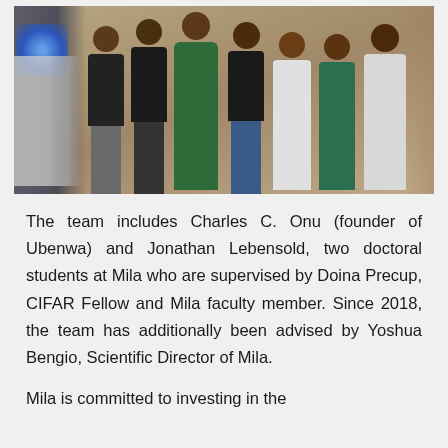[Figure (photo): A group photo of seven people (team members) standing together in what appears to be a medical facility or clinic. Some are wearing dark clothing, one wears a green traditional garment, others wear medical scrubs and white coat. Medical equipment is visible on the left side with a blue light.]
The team includes Charles C. Onu (founder of Ubenwa) and Jonathan Lebensold, two doctoral students at Mila who are supervised by Doina Precup, CIFAR Fellow and Mila faculty member. Since 2018, the team has additionally been advised by Yoshua Bengio, Scientific Director of Mila.
Mila is committed to investing in the